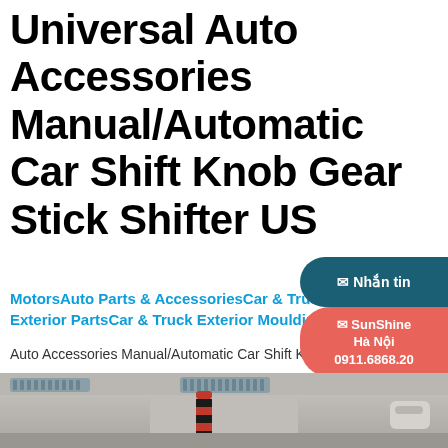Universal Auto Accessories Manual/Automatic Car Shift Knob Gear Stick Shifter US
MotorsAuto Parts & AccessoriesCar & Truck Parts & AccessoriesExterior PartsCar & Truck Exterior Mouldings & Trim
Auto Accessories Manual/Automatic Car Shift Knob Gear Stick Shifter US
[Figure (other): Three rounded chat/contact bubbles on the right side: 1) Dark teal bubble with text '✉ Nhắn tin', 2) Red/coral bubble with text '✉ SunShine Hà Nội 0911.6868.20', 3) Teal/mint bubble with text '✉ SunShine Sài Gòn 0765.176.888']
[Figure (photo): Car interior dashboard photo showing air vents and center console with a gear shift knob/brush item visible]